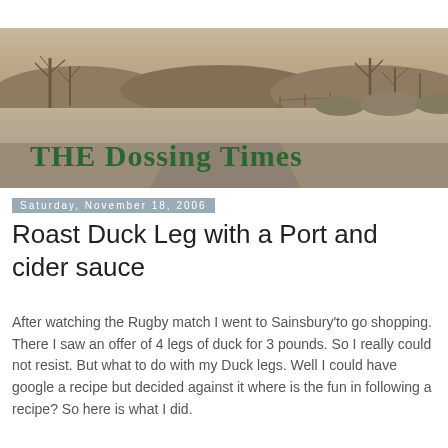[Figure (photo): Blog header banner image showing a sepia-toned landscape with bare trees, a road, and wintry scenery, with the text 'THE Dossing Times' in dark green blackletter font overlaid]
Saturday, November 18, 2006
Roast Duck Leg with a Port and cider sauce
After watching the Rugby match I went to Sainsbury'to go shopping. There I saw an offer of 4 legs of duck for 3 pounds. So I really could not resist. But what to do with my Duck legs. Well I could have google a recipe but decided against it where is the fun in following a recipe? So here is what I did.